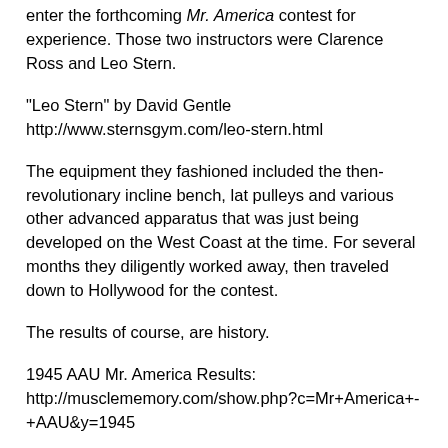enter the forthcoming Mr. America contest for experience. Those two instructors were Clarence Ross and Leo Stern.
"Leo Stern" by David Gentle
http://www.sternsgym.com/leo-stern.html
The equipment they fashioned included the then-revolutionary incline bench, lat pulleys and various other advanced apparatus that was just being developed on the West Coast at the time. For several months they diligently worked away, then traveled down to Hollywood for the contest.
The results of course, are history.
1945 AAU Mr. America Results:
http://musclememory.com/show.php?c=Mr+America+-+AAU&y=1945
Clarence took the title, Most Muscular, Best Chest and Best Back, plus placing 2nd in the Best Legs subdivision. His win was the triggering of the modern era of training, the portent